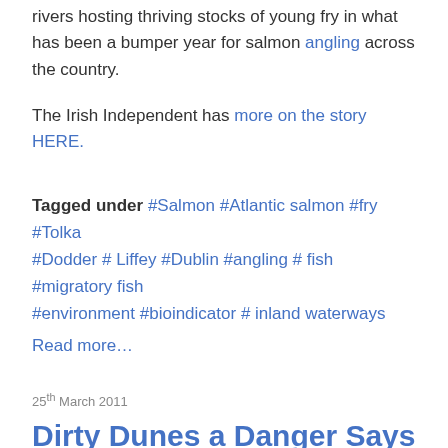rivers hosting thriving stocks of young fry in what has been a bumper year for salmon angling across the country.
The Irish Independent has more on the story HERE.
Tagged under  #Salmon  #Atlantic salmon  #fry  #Tolka  #Dodder  # Liffey  #Dublin  #angling  # fish  #migratory fish  #environment  #bioindicator  # inland waterways
Read more...
25th March 2011
Dirty Dunes a Danger Says Coastwatch
Coastwatch has claimed that a ministerial order for the protection of sand dunes in Co Wexford is being breached, The Irish Times reports.